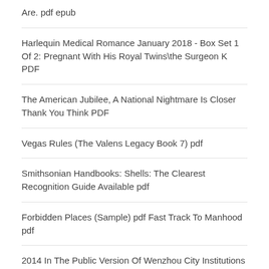Are. pdf epub
Harlequin Medical Romance January 2018 - Box Set 1 Of 2: Pregnant With His Royal Twins\the Surgeon K PDF
The American Jubilee, A National Nightmare Is Closer Thank You Think PDF
Vegas Rules (The Valens Legacy Book 7) pdf
Smithsonian Handbooks: Shells: The Clearest Recognition Guide Available pdf
Forbidden Places (Sample) pdf Fast Track To Manhood pdf
2014 In The Public Version Of Wenzhou City Institutions To Recruit Exam Materials: Integrated Applic pdf
Miracle Lamb PDF